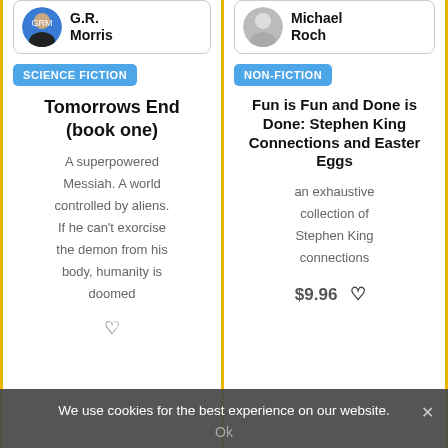[Figure (photo): Author avatar photo of G.R. Morris, circular, with border card]
G.R. Morris
SCIENCE FICTION
Tomorrows End (book one)
A superpowered Messiah. A world controlled by aliens. If he can't exorcise the demon from his body, humanity is doomed
[Figure (photo): Author avatar silhouette of Michael Roch, circular, with border card]
Michael Roch
NON-FICTION
Fun is Fun and Done is Done: Stephen King Connections and Easter Eggs
an exhaustive collection of Stephen King connections
We use cookies for the best experience on our website.
Ok
$9.96